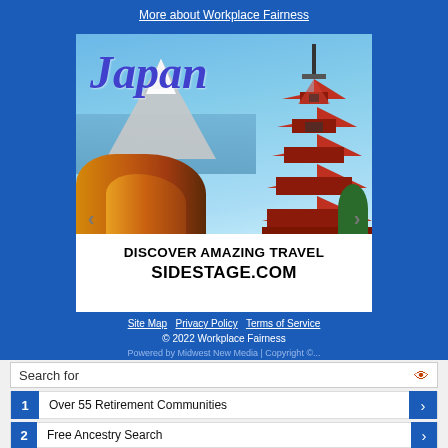More about Workplace Fairness
[Figure (advertisement): Advertisement banner showing Japan travel image with red pagoda, Mount Fuji, autumn trees, and text 'Japan' in italic blue; navigation arrows on sides; text below reads 'DISCOVER AMAZING TRAVEL SIDESTAGE.COM']
Site Map | Privacy Policy | Terms of Service
© 2022 Workplace Fairness
Search for
1  Over 55 Retirement Communities
2  Free Ancestry Search